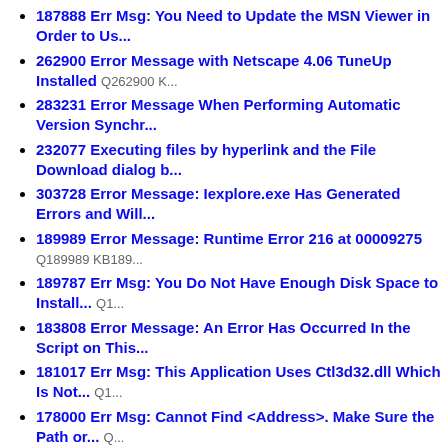187888 Err Msg: You Need to Update the MSN Viewer in Order to Us...
262900 Error Message with Netscape 4.06 TuneUp Installed Q262900 K...
283231 Error Message When Performing Automatic Version Synchr...
232077 Executing files by hyperlink and the File Download dialog b...
303728 Error Message: Iexplore.exe Has Generated Errors and Will...
189989 Error Message: Runtime Error 216 at 00009275 Q189989 KB189...
189787 Err Msg: You Do Not Have Enough Disk Space to Install... Q1...
183808 Error Message: An Error Has Occurred In the Script on This...
181017 Err Msg: This Application Uses Ctl3d32.dll Which Is Not... Q1...
178000 Err Msg: Cannot Find <Address>. Make Sure the Path or... Q...
177300 Error Message: The Server Threw an Exception... Q177300 KB1...
176262 Err Msg: The Drive or Network Connection That the Shortcu...
175133 Error Message: Unable to Install Java Packages... Q175133 KB...
175039 Err Msg: A Connection to the Server Could Not Be Establish...
169747 Error Message: Invalid Page Fault in Mshtml.dll Q169747 KB169...
306831 Error Message When You Browse the Web: An Error Has Oc...
303486 Error Message When You Attempt to Print a Web Page: An E...
187965 Error message: "Explorer caused an invalid page fault in me...
329231 Error message: "There was an error launching the File Tran...
252477 Error Message: IEAK 5 An Occurred Calling DllRegisterServ...
315207 Error Message: Cannot Open Webpage Because Cookies An...